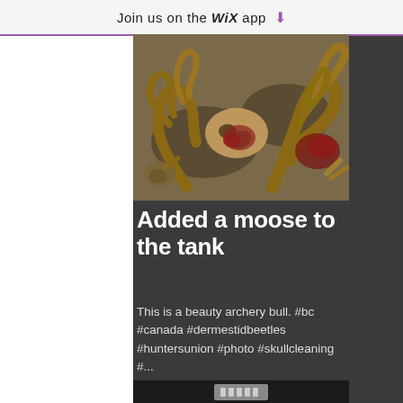Join us on the WiX app ↓
[Figure (photo): Animal skull and antlers with flesh, laid on sandy/concrete surface. Appears to be a moose skull in the process of being cleaned by dermestid beetles.]
Added a moose to the tank
This is a beauty archery bull. #bc #canada #dermestidbeetles #huntersunion #photo #skullcleaning #...